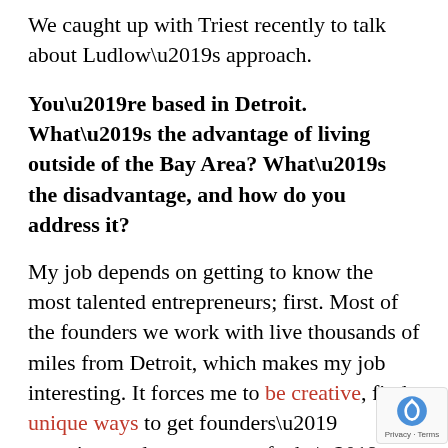We caught up with Triest recently to talk about Ludlow’s approach.
You’re based in Detroit. What’s the advantage of living outside of the Bay Area? What’s the disadvantage, and how do you address it?
My job depends on getting to know the most talented entrepreneurs; first. Most of the founders we work with live thousands of miles from Detroit, which makes my job interesting. It forces me to be creative, find unique ways to get founders’ attention, and stay on top of who’s building what/where. In our